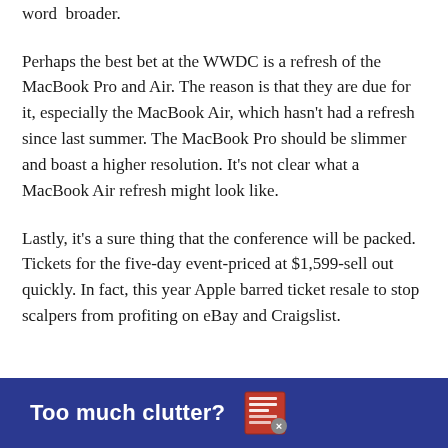word  broader.
Perhaps the best bet at the WWDC is a refresh of the MacBook Pro and Air. The reason is that they are due for it, especially the MacBook Air, which hasn't had a refresh since last summer. The MacBook Pro should be slimmer and boast a higher resolution. It's not clear what a MacBook Air refresh might look like.
Lastly, it's a sure thing that the conference will be packed. Tickets for the five-day event-priced at $1,599-sell out quickly. In fact, this year Apple barred ticket resale to stop scalpers from profiting on eBay and Craigslist.
[Figure (infographic): Dark blue advertisement banner reading 'Too much clutter?' with a newspaper/document icon and a close button (x) on the right side.]